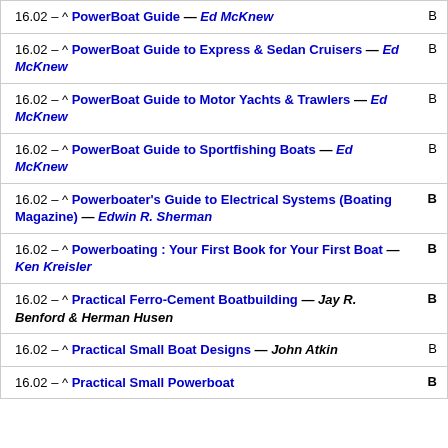16.02 – ^ PowerBoat Guide — Ed McKnew B
16.02 – ^ PowerBoat Guide to Express & Sedan Cruisers — Ed McKnew B
16.02 – ^ PowerBoat Guide to Motor Yachts & Trawlers — Ed McKnew B
16.02 – ^ PowerBoat Guide to Sportfishing Boats — Ed McKnew B
16.02 – ^ Powerboater's Guide to Electrical Systems (Boating Magazine) — Edwin R. Sherman B
16.02 – ^ Powerboating : Your First Book for Your First Boat — Ken Kreisler B
16.02 – ^ Practical Ferro-Cement Boatbuilding — Jay R. Benford & Herman Husen B
16.02 – ^ Practical Small Boat Designs — John Atkin B
16.02 – ^ Practical Small Powerboat B